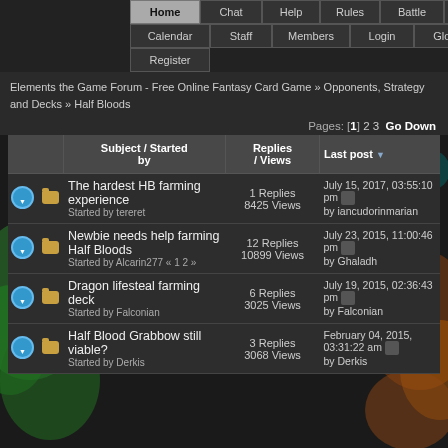Home | Chat | Help | Rules | Battle | Search | Calendar | Staff | Members | Login | Glossary | Register
Elements the Game Forum - Free Online Fantasy Card Game » Opponents, Strategy and Decks » Half Bloods
Pages: [1] 2 3  Go Down
|  |  | Subject / Started by | Replies / Views | Last post ▼ |
| --- | --- | --- | --- | --- |
|  |  | The hardest HB farming experience
Started by tereret | 1 Replies
8425 Views | July 15, 2017, 03:55:10 pm
by iancudorinmarian |
|  |  | Newbie needs help farming Half Bloods
Started by Alcarin277 « 1 2 » | 12 Replies
10899 Views | July 23, 2015, 11:00:46 pm
by Ghaladh |
|  |  | Dragon lifesteal farming deck
Started by Falconian | 6 Replies
3025 Views | July 19, 2015, 02:36:43 pm
by Falconian |
|  |  | Half Blood Grabbow still viable?
Started by Derkis | 3 Replies
3068 Views | February 04, 2015, 03:31:22 am
by Derkis |